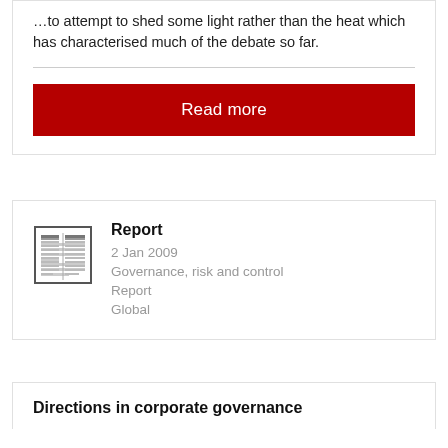…to attempt to shed some light rather than the heat which has characterised much of the debate so far.
Read more
Report
2 Jan 2009
Governance, risk and control
Report
Global
Directions in corporate governance